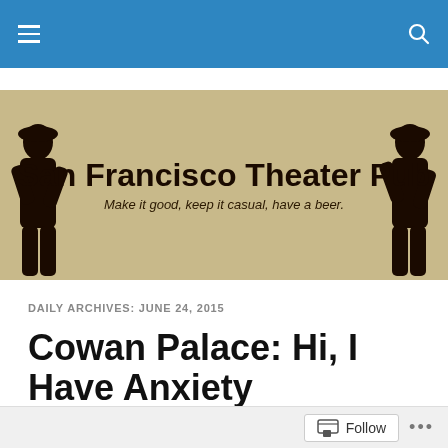Navigation bar with hamburger menu and search icon
[Figure (illustration): San Francisco Theater Pub banner with logo text, tagline 'Make it good, keep it casual, have a beer.' and two medieval/theatrical figure silhouettes on left and right sides on a tan/khaki background]
DAILY ARCHIVES: JUNE 24, 2015
Cowan Palace: Hi, I Have Anxiety
This week Ashley attempts to wrestle the bear that is anxiety.
Follow ...